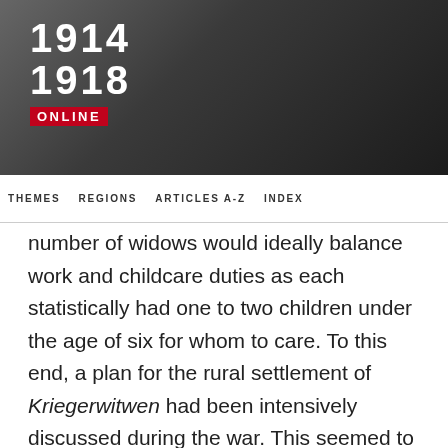[Figure (logo): 1914-1918 Online logo with dark background header banner]
THEMES   REGIONS   ARTICLES A-Z   INDEX
number of widows would ideally balance work and childcare duties as each statistically had one to two children under the age of six for whom to care. To this end, a plan for the rural settlement of Kriegerwitwen had been intensively discussed during the war. This seemed to be an ideal solution which would combine a healthy family environment with a gainful employment as well as a way to avoid food shortages. This approach, however